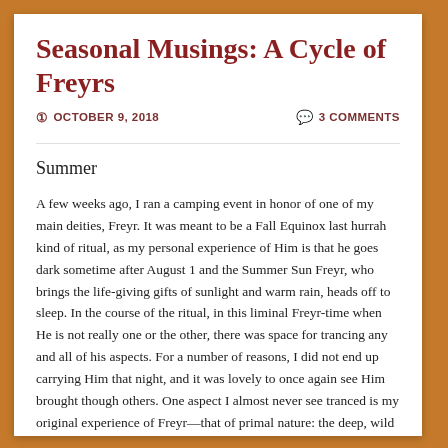Seasonal Musings: A Cycle of Freyrs
OCTOBER 9, 2018   3 COMMENTS
Summer
A few weeks ago, I ran a camping event in honor of one of my main deities, Freyr. It was meant to be a Fall Equinox last hurrah kind of ritual, as my personal experience of Him is that he goes dark sometime after August 1 and the Summer Sun Freyr, who brings the life-giving gifts of sunlight and warm rain, heads off to sleep. In the course of the ritual, in this liminal Freyr-time when He is not really one or the other, there was space for trancing any and all of his aspects. For a number of reasons, I did not end up carrying Him that night, and it was lovely to once again see Him brought though others. One aspect I almost never see tranced is my original experience of Freyr—that of primal nature: the deep, wild forest; the Stag that is hunted; a true Lord of the Wood. And I realized in interacting with this facet of Freyr for the first time in a long time, that this side of Him is integral to my